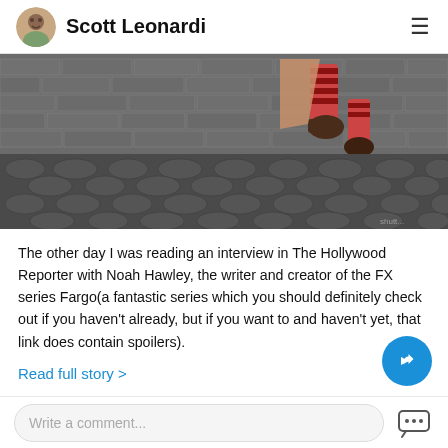Scott Leonardi
[Figure (photo): Person's legs mid-jump over cobblestone ground with a banana peel nearby, brick wall in background]
The other day I was reading an interview in The Hollywood Reporter with Noah Hawley, the writer and creator of the FX series Fargo(a fantastic series which you should definitely check out if you haven't already, but if you want to and haven't yet, that link does contain spoilers).
Read full story >